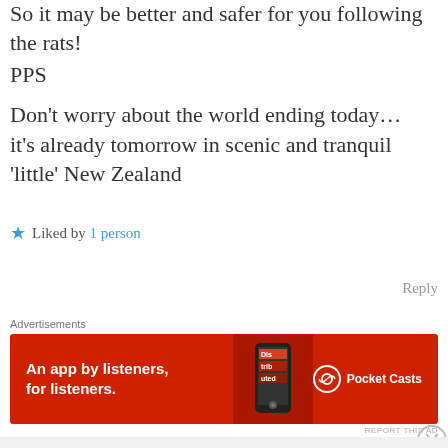So it may be better and safer for you following the rats!
PPS
Don't worry about the world ending today…
it's already tomorrow in scenic and tranquil 'little' New Zealand
★ Liked by 1 person
Reply
Advertisements
[Figure (other): Red advertisement banner for Pocket Casts app: 'An app by listeners, for listeners.' with Pocket Casts logo]
REPORT THIS AD
Advertisements
[Figure (other): Green advertisement banner for Jetpack: 'Back up your site' button with Jetpack logo]